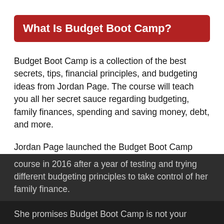What Is Budget Boot Camp?
Budget Boot Camp is a collection of the best secrets, tips, financial principles, and budgeting ideas from Jordan Page. The course will teach you all her secret sauce regarding budgeting, family finances, spending and saving money, debt, and more.
Jordan Page launched the Budget Boot Camp course in 2016 after a year of testing and trying different budgeting principles to take control of her family finance.
She promises Budget Boot Camp is not your